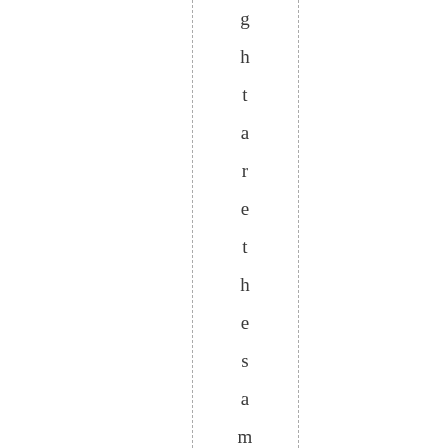ght are the same everywhere. in